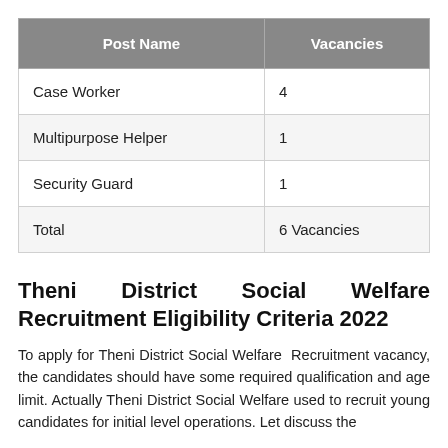| Post Name | Vacancies |
| --- | --- |
| Case Worker | 4 |
| Multipurpose Helper | 1 |
| Security Guard | 1 |
| Total | 6 Vacancies |
Theni District Social Welfare Recruitment Eligibility Criteria 2022
To apply for Theni District Social Welfare Recruitment vacancy, the candidates should have some required qualification and age limit. Actually Theni District Social Welfare used to recruit young candidates for initial level operations. Let discuss the